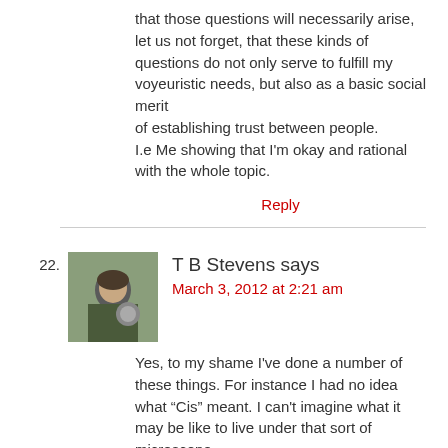that those questions will necessarily arise, let us not forget, that these kinds of questions do not only serve to fulfill my voyeuristic needs, but also as a basic social merit of establishing trust between people. I.e Me showing that I'm okay and rational with the whole topic.
Reply
22. T B Stevens says March 3, 2012 at 2:21 am
Yes, to my shame I've done a number of these things. For instance I had no idea what “Cis” meant. I can't imagine what it may be like to live under that sort of microscope.
I guess I might be able to equate it to being a Quaker, where I answer all the time, no, we aren't Amish, those are Amish people, Quaker is different, and no I don't make oatmeal, except for breakfast. Except that nobody seems